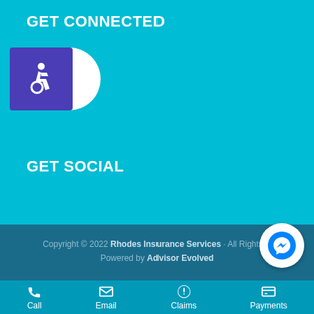GET CONNECTED
[Figure (illustration): Accessibility icon (wheelchair symbol) in purple square with white circle background]
GET SOCIAL
Copyright © 2022 Rhodes Insurance Services · All Rights Reserved · Powered by Advisor Evolved
[Figure (logo): Facebook Messenger icon in blue circle]
Call
Email
Claims
Payments